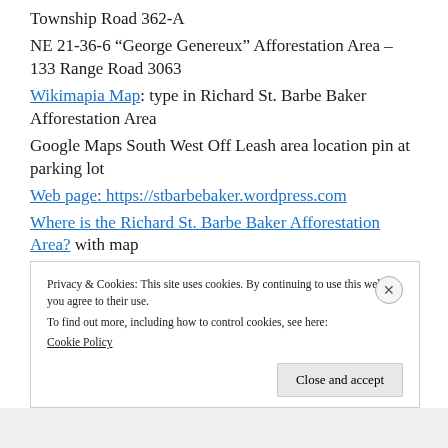Township Road 362-A
NE 21-36-6 “George Genereux” Afforestation Area – 133 Range Road 3063
Wikimapia Map: type in Richard St. Barbe Baker Afforestation Area
Google Maps South West Off Leash area location pin at parking lot
Web page: https://stbarbebaker.wordpress.com
Where is the Richard St. Barbe Baker Afforestation Area? with map
Privacy & Cookies: This site uses cookies. By continuing to use this website, you agree to their use.
To find out more, including how to control cookies, see here: Cookie Policy
Close and accept